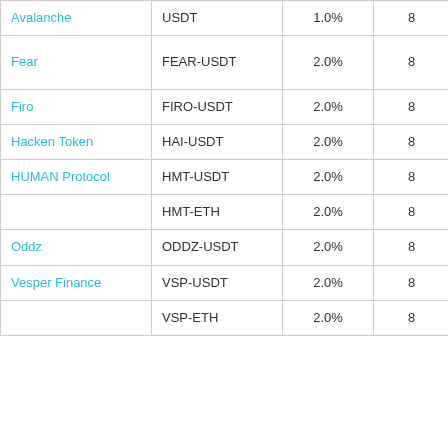| Name | Trading Pair | Spread | Levels | Min Order Size |
| --- | --- | --- | --- | --- |
| Avalanche | USDT | 1.0% | 8 | 11.47 + HBOT 13,8... |
| Fear | FEAR-USDT | 2.0% | 8 | USDT 325 + FEAR 1,136 + HBOT 20,8... |
| Firo | FIRO-USDT | 2.0% | 8 | FIRO 118 + HBOT 20,833 |
| Hacken Token | HAI-USDT | 2.0% | 8 | USDT 1,000 + HBC... 20,833 |
| HUMAN Protocol | HMT-USDT | 2.0% | 8 | USDT 1,000 |
|  | HMT-ETH | 2.0% | 8 | USDT 1,000 |
| Oddz | ODDZ-USDT | 2.0% | 8 | USDT 250 + ODDZ 10,078 |
| Vesper Finance | VSP-USDT | 2.0% | 8 | VSP 9... |
|  | VSP-ETH | 2.0% | 8 | VSP 926 |